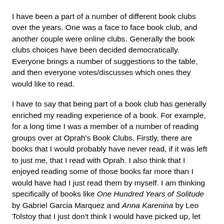I have been a part of a number of different book clubs over the years. One was a face to face book club, and another couple were online clubs. Generally the book clubs choices have been decided democratically. Everyone brings a number of suggestions to the table, and then everyone votes/discusses which ones they would like to read.
I have to say that being part of a book club has generally enriched my reading experience of a book. For example, for a long time I was a member of a number of reading groups over at Oprah's Book Clubs. Firstly, there are books that I would probably have never read, if it was left to just me, that I read with Oprah. I also think that I enjoyed reading some of those books far more than I would have had I just read them by myself. I am thinking specifically of books like One Hundred Years of Solitude by Gabriel Garcia Marquez and Anna Karenina by Leo Tolstoy that I just don't think I would have picked up, let alone loved as much as I did without the discussion that went along with reading those books as part of a group. I haven't read along with the last few choices, but